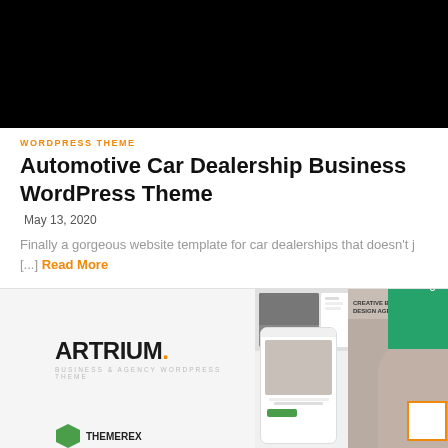[Figure (photo): Black rectangular image area at top of page, likely a screenshot or dark video thumbnail]
WORDPRESS THEME
Automotive Car Dealership Business WordPress Theme
May 13, 2020
Finally a gorgeous website template for car dealerships that doesn't j [...] Read More
[Figure (screenshot): Artrium Business & Agency WordPress Theme preview showing logo, phone mockup, and design agency sample page with woman photo. Green 'UPDATED' corner badge visible. Orange square in bottom right corner.]